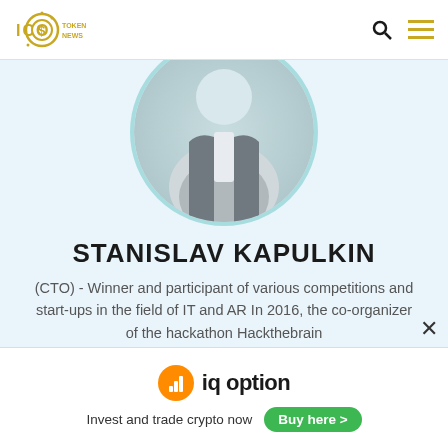ICO Token News
[Figure (photo): Profile photo of Stanislav Kapulkin in a circular frame with teal border, showing a person in formal attire]
STANISLAV KAPULKIN
(CTO) - Winner and participant of various competitions and start-ups in the field of IT and AR In 2016, the co-organizer of the hackathon Hackthebrain
[Figure (logo): LinkedIn icon in blue]
[Figure (logo): IQ Option advertisement banner with orange logo circle, 'iq option' brand name, 'Invest and trade crypto now' text and green 'Buy here >' button]